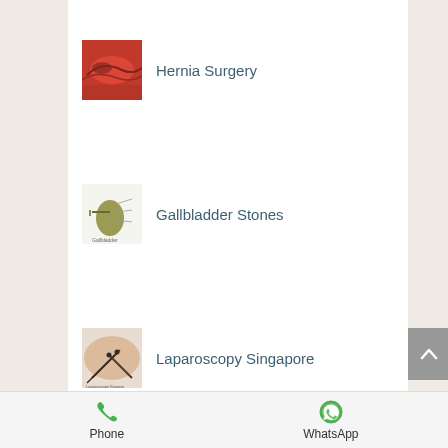Hernia Surgery
Gallbladder Stones
Laparoscopy Singapore
Phone  WhatsApp